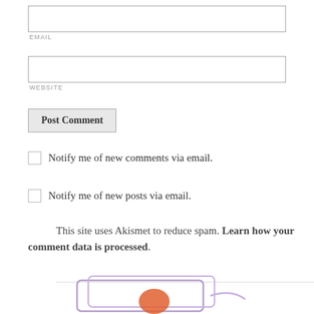EMAIL
WEBSITE
Post Comment
Notify me of new comments via email.
Notify me of new posts via email.
This site uses Akismet to reduce spam. Learn how your comment data is processed.
[Figure (illustration): Partial view of a colorful illustration at the bottom of the page, showing purple/lavender box outlines and an orange/red element, resembling a postcard or envelope graphic.]